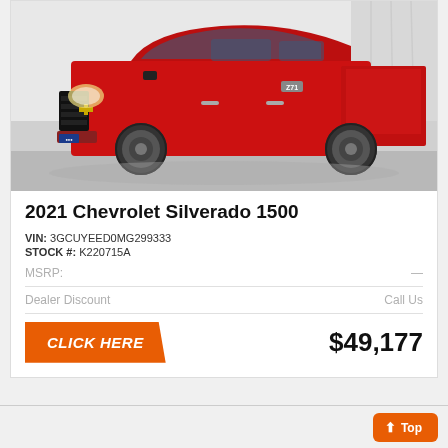[Figure (photo): Red 2021 Chevrolet Silverado 1500 pickup truck photographed in a showroom/studio setting against a white/grey background]
2021 Chevrolet Silverado 1500
VIN: 3GCUYEED0MG299333
STOCK #: K220715A
MSRP:
Dealer Discount                    Call Us
CLICK HERE        $49,177